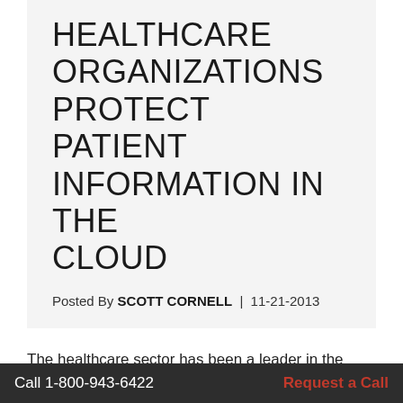HEALTHCARE ORGANIZATIONS PROTECT PATIENT INFORMATION IN THE CLOUD
Posted By SCOTT CORNELL | 11-21-2013
The healthcare sector has been a leader in the early adoption of technology, and this trend continues with increased implementation of cloud computing in the industry.
A recent Marketsandmarkets report illustrates this fact, predicting that the global healthcare cloud market will be Call 1-800-943-6422 17. This growth comes increasingly widespread practices of cloud utiliza...